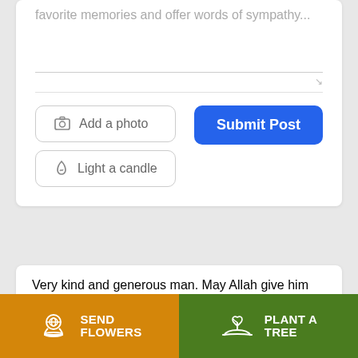favorite memories and offer words of sympathy...
[Figure (screenshot): Text area input field with placeholder text, followed by Add a photo and Light a candle buttons on the left and Submit Post blue button on the right]
Very kind and generous man. May Allah give him the highest place in heaven. Ameen
[Figure (infographic): Two action buttons at bottom: orange SEND FLOWERS button with flower bouquet icon, and green PLANT A TREE button with plant/hand icon]